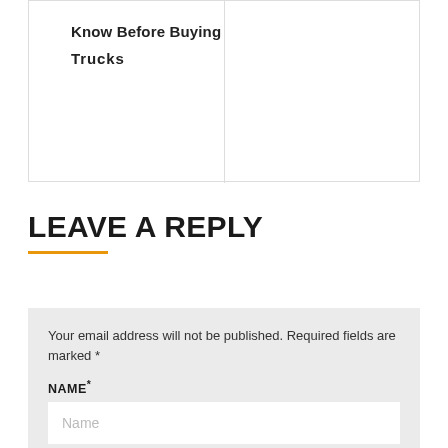Know Before Buying
Trucks
LEAVE A REPLY
Your email address will not be published. Required fields are marked *
NAME*
Name
EMAIL *
Your E-mail